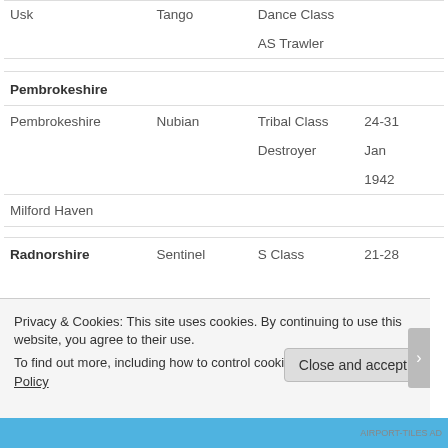| Location | Ship | Class | Date |
| --- | --- | --- | --- |
| Usk | Tango | Dance Class |  |
|  |  | AS Trawler |  |
| Pembrokeshire |  |  |  |
| Pembrokeshire | Nubian | Tribal Class | 24-31 |
|  |  | Destroyer | Jan |
|  |  |  | 1942 |
| Milford Haven |  |  |  |
| Radnorshire | Sentinel | S Class | 21-28 |
Privacy & Cookies: This site uses cookies. By continuing to use this website, you agree to their use.
To find out more, including how to control cookies, see here: Cookie Policy